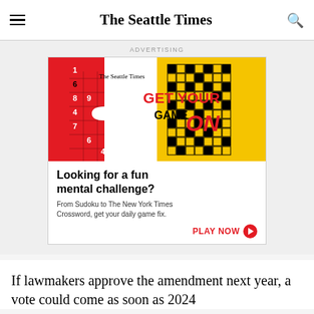The Seattle Times
ADVERTISING
[Figure (advertisement): The Seattle Times advertisement: 'GET YOUR GAME ON' with sudoku and crossword puzzle imagery. Text reads: 'Looking for a fun mental challenge? From Sudoku to The New York Times Crossword, get your daily game fix. PLAY NOW']
If lawmakers approve the amendment next year, a vote could come as soon as 2024